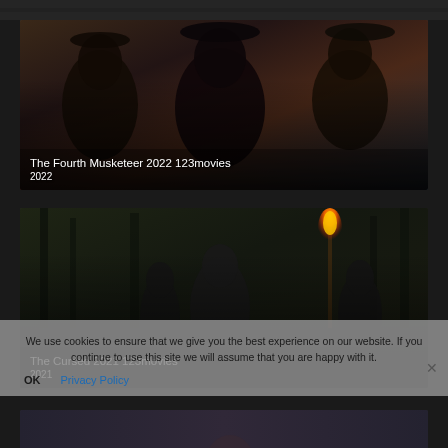[Figure (photo): Cropped top portion of a dark image, cut off at top of page]
[Figure (photo): Movie thumbnail for The Fourth Musketeer 2022 — three men in period costume, dark tones]
The Fourth Musketeer 2022 123movies
2022
[Figure (photo): Movie thumbnail for The Cursed 2021 — dark forest scene with figure holding a torch, man shouting]
The Cursed 2021 123movies
2021
We use cookies to ensure that we give you the best experience on our website. If you continue to use this site we will assume that you are happy with it.
OK
Privacy Policy
[Figure (photo): Partial bottom movie thumbnail, mostly cut off]